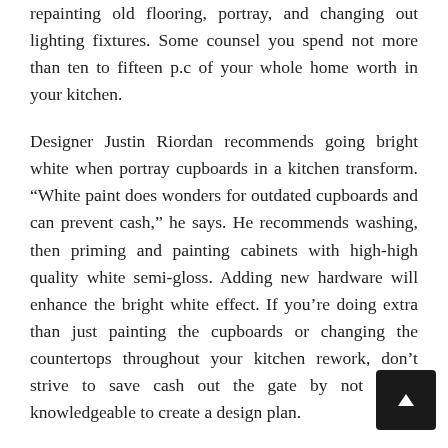repainting old flooring, portray, and changing out lighting fixtures. Some counsel you spend not more than ten to fifteen p.c of your whole home worth in your kitchen.
Designer Justin Riordan recommends going bright white when portray cupboards in a kitchen transform. “White paint does wonders for outdated cupboards and can prevent cash,” he says. He recommends washing, then priming and painting cabinets with high-high quality white semi-gloss. Adding new hardware will enhance the bright white effect. If you’re doing extra than just painting the cupboards or changing the countertops throughout your kitchen rework, don’t strive to save cash out the gate by not hiring knowledgeable to create a design plan.